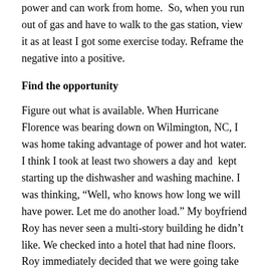power and can work from home.  So, when you run out of gas and have to walk to the gas station, view it as at least I got some exercise today. Reframe the negative into a positive.
Find the opportunity
Figure out what is available. When Hurricane Florence was bearing down on Wilmington, NC, I was home taking advantage of power and hot water. I think I took at least two showers a day and  kept starting up the dishwasher and washing machine. I was thinking, “Well, who knows how long we will have power. Let me do another load.” My boyfriend Roy has never seen a multi-story building he didn’t like. We checked into a hotel that had nine floors. Roy immediately decided that we were going take those stairs twice. “Here is a great opportunity!” So there I was, hiking several dozen flights of stairs. Where recovery